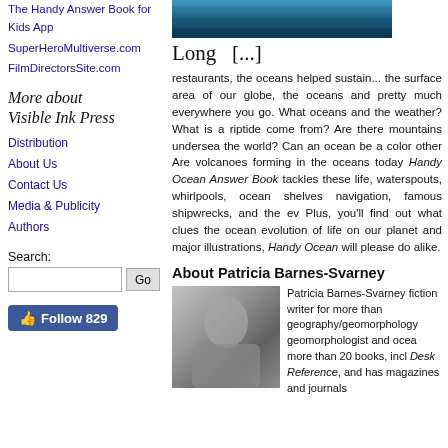The Handy Answer Book for Kids App
SuperHeroMultiverse.com
FilmDirectorsSite.com
More about Visible Ink Press
Distribution
About Us
Contact Us
Media & Publicity
Authors
Search:
[Figure (photo): Ocean/water surface texture image banner]
Long  [...]
restaurants, the oceans helped susta... the surface area of our globe, the oceans... and pretty much everywhere you go. What oceans and the weather? What is a riptide come from? Are there mountains undersea the world? Can an ocean be a color other Are volcanoes forming in the oceans today Handy Ocean Answer Book tackles these life, waterspouts, whirlpools, ocean shelv navigation, famous shipwrecks, and the e Plus, you'll find out what clues the ocea evolution of life on our planet and major illustrations, Handy Ocean will please do alike.
About Patricia Barnes-Svarney
[Figure (photo): Black and white photo of Patricia Barnes-Svarney outdoors]
Patricia Barnes-Svarney fiction writer for more tha geography/geomorpholo geomorphologist and oc more than 20 books, inc Desk Reference, and has magazines and journals